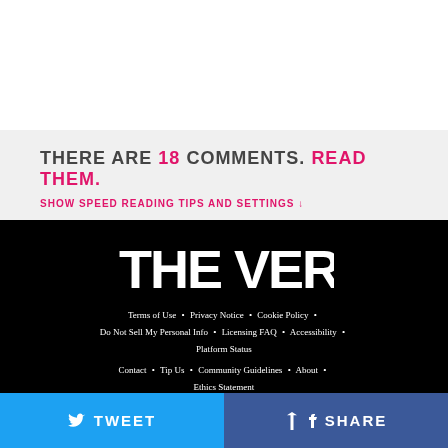THERE ARE 18 COMMENTS. READ THEM.
SHOW SPEED READING TIPS AND SETTINGS ↓
[Figure (logo): THE VERGE logo in white bold text on black background]
Terms of Use • Privacy Notice • Cookie Policy • Do Not Sell My Personal Info • Licensing FAQ • Accessibility • Platform Status
Contact • Tip Us • Community Guidelines • About • Ethics Statement
[Figure (logo): VOX MEDIA logo in white bold text on black background]
Advertise with us
TWEET
SHARE